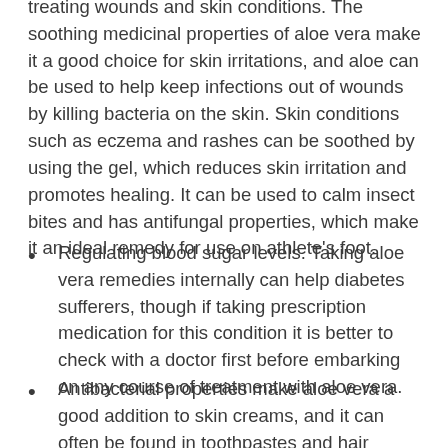treating wounds and skin conditions. The soothing medicinal properties of aloe vera make it a good choice for skin irritations, and aloe can be used to help keep infections out of wounds by killing bacteria on the skin. Skin conditions such as eczema and rashes can be soothed by using the gel, which reduces skin irritation and promotes healing. It can be used to calm insect bites and has antifungal properties, which make it an ideal remedy for use on athlete's foot.
Regulating blood sugar levels. Taking aloe vera remedies internally can help diabetes sufferers, though if taking prescription medication for this condition it is better to check with a doctor first before embarking on any course of treatment with aloe vera.
Antibacterial properties make aloe vera a good addition to skin creams, and it can often be found in toothpastes and hair products as well. Aloe vera in